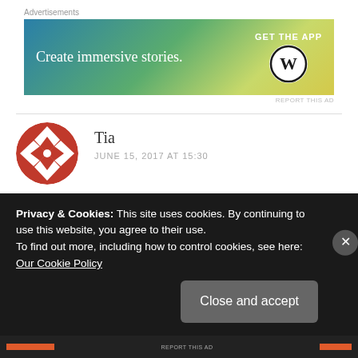Advertisements
[Figure (illustration): WordPress 'Create immersive stories. GET THE APP' advertisement banner with gradient background (blue to yellow-green) and WordPress logo]
REPORT THIS AD
[Figure (illustration): Circular avatar with red and white geometric/quilt pattern design for user Tia]
Tia
JUNE 15, 2017 AT 15:30
The Casual Vacancy by JK Rowling. I have never been more disappointed in a book. There was no character development, not even a likable
Privacy & Cookies: This site uses cookies. By continuing to use this website, you agree to their use.
To find out more, including how to control cookies, see here: Our Cookie Policy
Close and accept